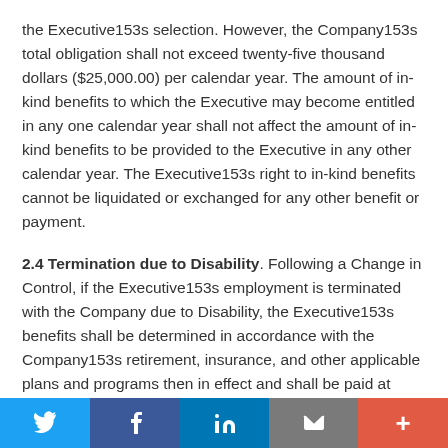the Executive153s selection. However, the Company153s total obligation shall not exceed twenty-five thousand dollars ($25,000.00) per calendar year. The amount of in-kind benefits to which the Executive may become entitled in any one calendar year shall not affect the amount of in-kind benefits to be provided to the Executive in any other calendar year. The Executive153s right to in-kind benefits cannot be liquidated or exchanged for any other benefit or payment.
2.4 Termination due to Disability. Following a Change in Control, if the Executive153s employment is terminated with the Company due to Disability, the Executive153s benefits shall be determined in accordance with the Company153s retirement, insurance, and other applicable plans and programs then in effect and shall be paid at such time and in such manner as set forth in the plans or
Twitter | Facebook | LinkedIn | Email | +